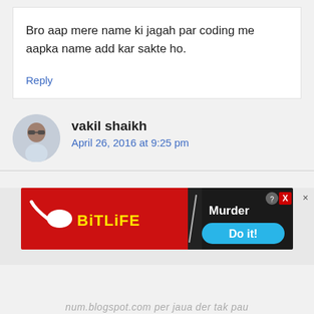Bro aap mere name ki jagah par coding me aapka name add kar sakte ho.
Reply
vakil shaikh
April 26, 2016 at 9:25 pm
[Figure (screenshot): BitLife advertisement banner with 'Murder Do it!' text]
num.blogspot.com per jaua der tak pau